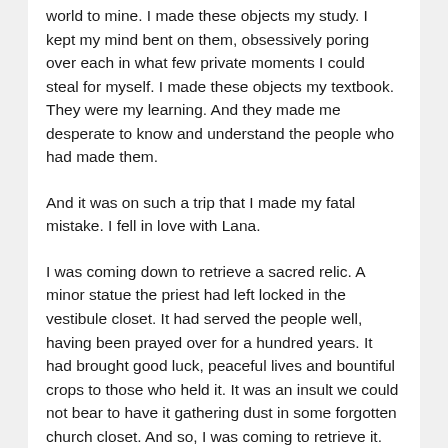world to mine. I made these objects my study. I kept my mind bent on them, obsessively poring over each in what few private moments I could steal for myself. I made these objects my textbook. They were my learning. And they made me desperate to know and understand the people who had made them.
And it was on such a trip that I made my fatal mistake. I fell in love with Lana.
I was coming down to retrieve a sacred relic. A minor statue the priest had left locked in the vestibule closet. It had served the people well, having been prayed over for a hundred years. It had brought good luck, peaceful lives and bountiful crops to those who held it. It was an insult we could not bear to have it gathering dust in some forgotten church closet. And so, I was coming to retrieve it. To carry it home where it could serve its true purpose and derive power from the presence of those beyond faith.